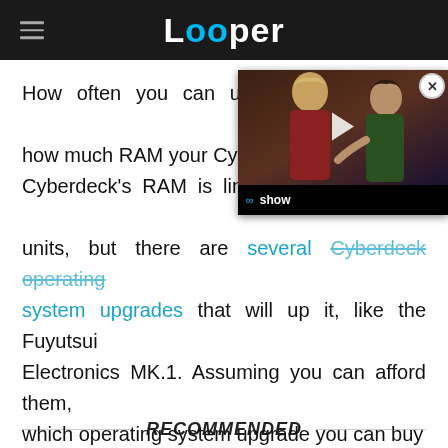Looper
[Figure (screenshot): Video overlay showing two characters (Thor and Loki) with a play button and 'show' label in the bottom bar]
How often you can use your Cyberdeck depends on how much RAM your Cyberdeck has. Every Cyberdeck's RAM is limited when you first buy the units, but there are several Cyberdeck operating system upgrades that will up it, like the Fuyutsui Electronics MK.1. Assuming you can afford them, which operating system upgrade you can buy depends on your Street Cred, character level, and corresponding attribute stat.
RECOMMENDED